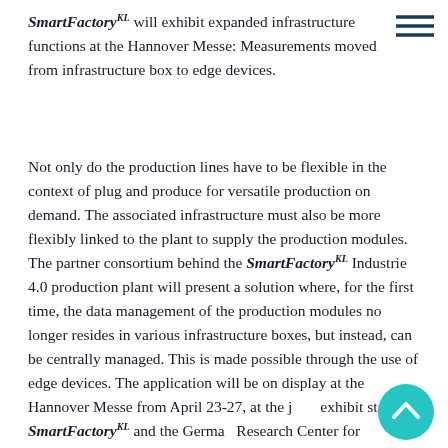SmartFactory KL will exhibit expanded infrastructure functions at the Hannover Messe: Measurements moved from infrastructure box to edge devices.
[Figure (other): Hamburger menu icon (three horizontal lines) in dark blue, top right corner]
Not only do the production lines have to be flexible in the context of plug and produce for versatile production on demand. The associated infrastructure must also be more flexibly linked to the plant to supply the production modules. The partner consortium behind the SmartFactory KL Industrie 4.0 production plant will present a solution where, for the first time, the data management of the production modules no longer resides in various infrastructure boxes, but instead, can be centrally managed. This is made possible through the use of edge devices. The application will be on display at the Hannover Messe from April 23-27, at the joint exhibit stand of SmartFactory KL and the German Research Center for Artificial Intelligence (DFKI) in Hall 8,
[Figure (other): Teal circular scroll-to-top button with a white upward-pointing chevron arrow, positioned bottom right]